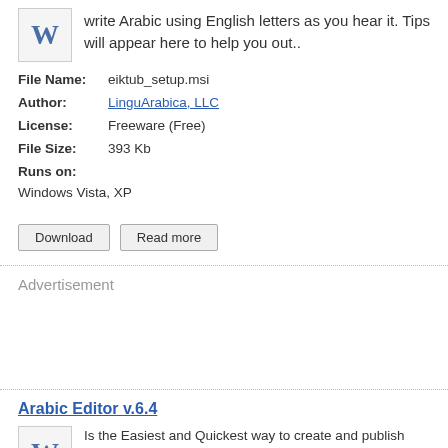write Arabic using English letters as you hear it. Tips will appear here to help you out..
File Name: eiktub_setup.msi
Author: LinguArabica, LLC
License: Freeware (Free)
File Size: 393 Kb
Runs on:
Windows Vista, XP
Advertisement
Arabic Editor  v.6.4
Is the Easiest and Quickest way to create and publish arabic file midi arabic name meaning. Main Features : Create and